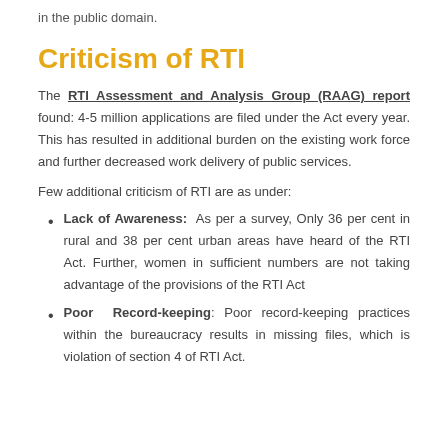in the public domain.
Criticism of RTI
The RTI Assessment and Analysis Group (RAAG) report found: 4-5 million applications are filed under the Act every year. This has resulted in additional burden on the existing work force and further decreased work delivery of public services.
Few additional criticism of RTI are as under:
Lack of Awareness: As per a survey, Only 36 per cent in rural and 38 per cent urban areas have heard of the RTI Act. Further, women in sufficient numbers are not taking advantage of the provisions of the RTI Act
Poor Record-keeping: Poor record-keeping practices within the bureaucracy results in missing files, which is violation of section 4 of RTI Act.